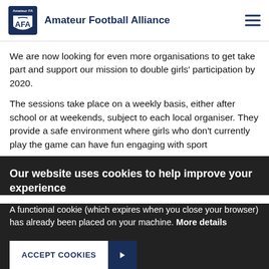Amateur Football Alliance
We are now looking for even more organisations to get take part and support our mission to double girls' participation by 2020.
The sessions take place on a weekly basis, either after school or at weekends, subject to each local organiser. They provide a safe environment where girls who don't currently play the game can have fun engaging with sport
Our website uses cookies to help improve your experience
A functional cookie (which expires when you close your browser) has already been placed on your machine. More details
ACCEPT COOKIES